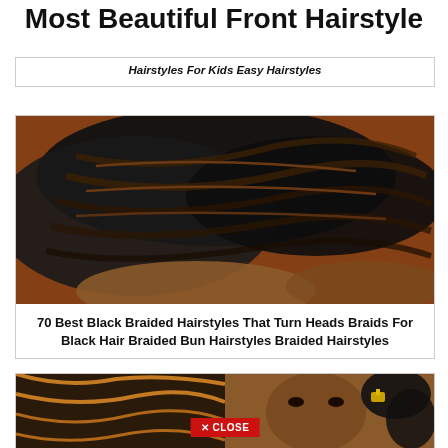Most Beautiful Front Hairstyle
Hairstyles For Kids Easy Hairstyles
[Figure (photo): Close-up photo of a person with black braided cornrow hairstyle against a brick wall background]
70 Best Black Braided Hairstyles That Turn Heads Braids For Black Hair Braided Bun Hairstyles Braided Hairstyles
[Figure (photo): Partial photo of a person with braided hairstyle with curly ends and gold accessories, with a red CLOSE button overlay]